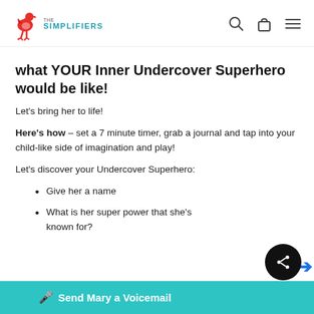The Simplifiers [logo/nav bar]
what YOUR Inner Undercover Superhero would be like!
Let’s bring her to life!
Here’s how – set a 7 minute timer, grab a journal and tap into your child-like side of imagination and play!
Let’s discover your Undercover Superhero:
Give her a name
What is her super power that she’s known for?